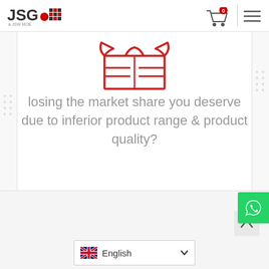JSG logo, cart icon with 0 badge, hamburger menu
[Figure (illustration): Red outline icon of clothing/wardrobe/shop front]
losing the market share you deserve due to inferior product range & product quality?
[Figure (other): WhatsApp contact button (green with phone icon)]
English language selector with UK flag and chevron